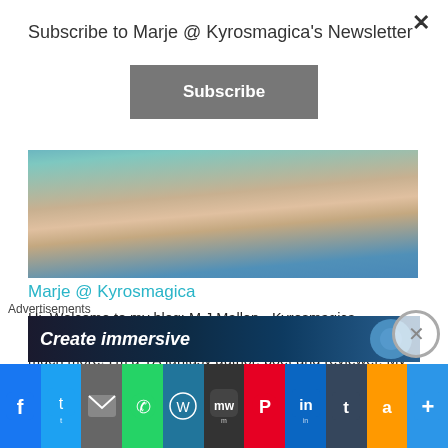Subscribe to Marje @ Kyrosmagica’s Newsletter
Subscribe
[Figure (photo): Partial photo of a person from neck down wearing a teal/blue top, hair visible at top]
Marje @ Kyrosmagica
Hi. Welcome to my blog: M J Mallon - Kyrosmagica Publishing. A blog about magic, books, writing, laughter, and much more! I’m a YA fantasy author, poet and reviewer. My first YA fantasy novel The Curse of Time - Book 1 - Bloodstone is set in Cambridge and Book 2 - Golden Healer is now out too. As well as this, I have contributed to several
Advertisements
[Figure (screenshot): Advertisement banner with text ‘Create immersive’]
[Figure (infographic): Social sharing bar with icons: Facebook, Twitter, Email, WhatsApp, WordPress, MeWe, Pinterest, LinkedIn, Tumblr, Amazon, Share]